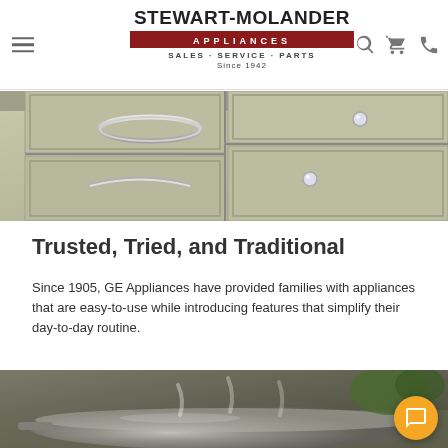Stewart-Molander Appliances — Sales · Service · Parts — Since 1942
[Figure (photo): Close-up photo of light sage/beige kitchen cabinet drawers with chrome bar pulls and crystal knob hardware]
Trusted, Tried, and Traditional
Since 1905, GE Appliances have provided families with appliances that are easy-to-use while introducing features that simplify their day-to-day routine.
[Figure (photo): Photo of a stainless steel pan/pot on a stovetop with steam, with green herbs and red tomatoes in the background]